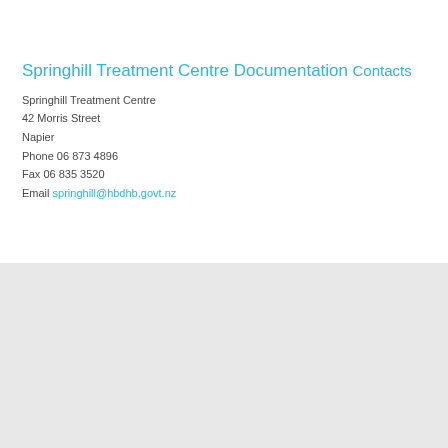Springhill Treatment Centre Documentation
Contacts
Springhill Treatment Centre
42 Morris Street
Napier
Phone 06 873 4896
Fax 06 835 3520
Email springhill@hbdhb.govt.nz
[Figure (map): Grey map area placeholder showing location map]